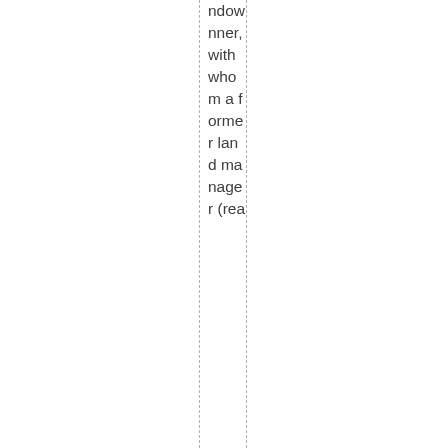ndownner, with whom a former land manager (rea